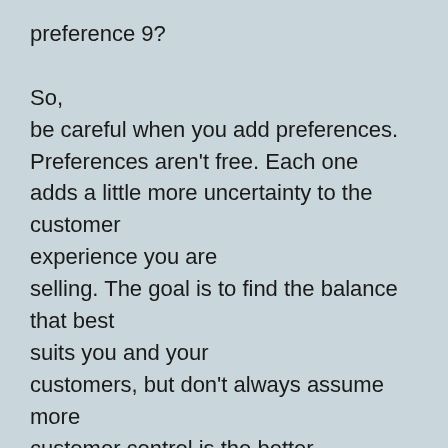preference 9?

So,
be careful when you add preferences. Preferences aren't free. Each one adds a little more uncertainty to the customer experience you are selling. The goal is to find the balance that best suits you and your customers, but don't always assume more customer control is the better choice.  [Signal vs. Noise]